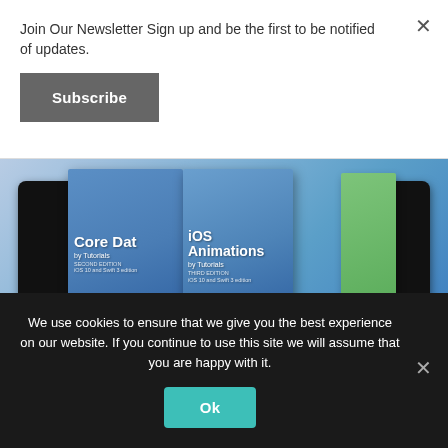Join Our Newsletter Sign up and be the first to be notified of updates.
Subscribe
[Figure (photo): Collection of iOS/macOS tutorial books (Core Data by Tutorials, iOS Animations by Tutorials) displayed alongside smartphones showing app screenshots, arranged in a fan layout against a blue background.]
We use cookies to ensure that we give you the best experience on our website. If you continue to use this site we will assume that you are happy with it.
Ok